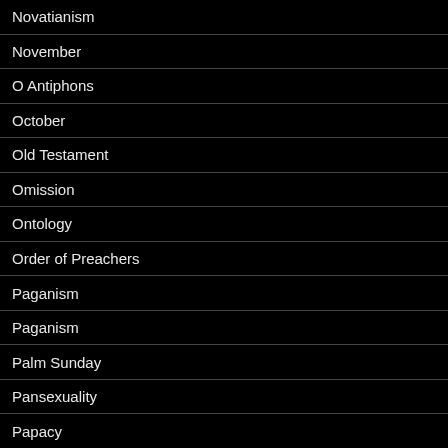Novatianism
November
O Antiphons
October
Old Testament
Omission
Ontology
Order of Preachers
Paganism
Paganism
Palm Sunday
Pansexuality
Papacy